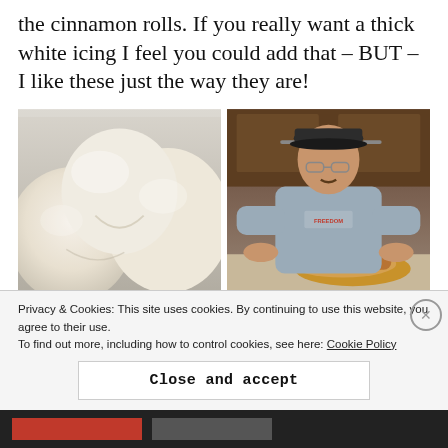the cinnamon rolls. If you really want a thick white icing I feel you could add that – BUT – I like these just the way they are!
[Figure (photo): Close-up photo of risen bread dough in a white pan, showing soft white puffy dough surface]
[Figure (photo): Man wearing a baseball cap and grey Freedom t-shirt rolling out dough on a kitchen counter with a rolling pin]
Privacy & Cookies: This site uses cookies. By continuing to use this website, you agree to their use.
To find out more, including how to control cookies, see here: Cookie Policy
Close and accept